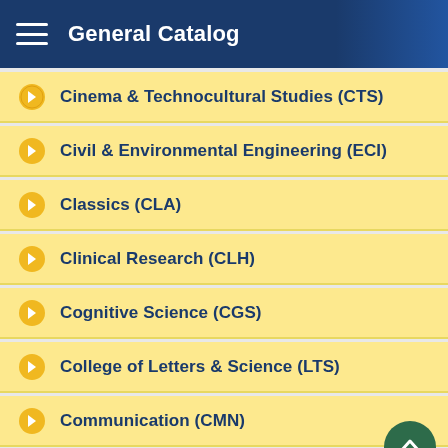General Catalog
Cinema & Technocultural Studies (CTS)
Civil & Environmental Engineering (ECI)
Classics (CLA)
Clinical Research (CLH)
Cognitive Science (CGS)
College of Letters & Science (LTS)
Communication (CMN)
Community & Regional Development (CRD)